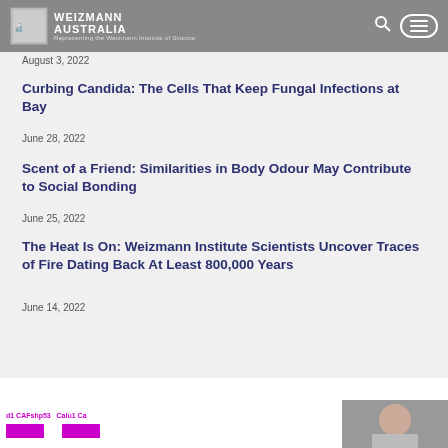WEIZMANN AUSTRALIA — Representing the Weizmann Institute of Science
August 3, 2022
Curbing Candida: The Cells That Keep Fungal Infections at Bay
June 28, 2022
Scent of a Friend: Similarities in Body Odour May Contribute to Social Bonding
June 25, 2022
The Heat Is On: Weizmann Institute Scientists Uncover Traces of Fire Dating Back At Least 800,000 Years
June 14, 2022
[Figure (other): Bottom strip showing partial lab image with text labels including CAFshp53, Calu1 and a partial photo of a person]